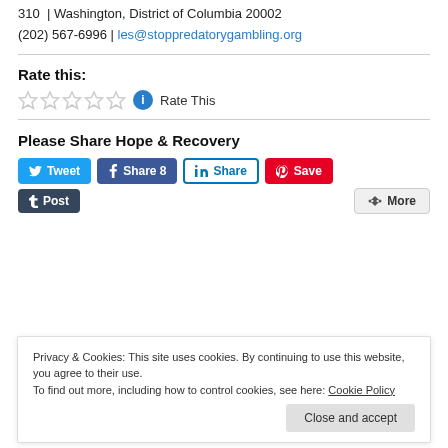310  | Washington, District of Columbia 20002
(202) 567-6996 | les@stoppredatorygambling.org
Rate this:
[Figure (other): Five empty star rating widgets with info icon and 'Rate This' label]
Please Share Hope & Recovery
[Figure (other): Social share buttons: Tweet, Share 8 (Facebook), Share (LinkedIn), Save (Pinterest), Post (Tumblr), More]
Privacy & Cookies: This site uses cookies. By continuing to use this website, you agree to their use.
To find out more, including how to control cookies, see here: Cookie Policy
Close and accept